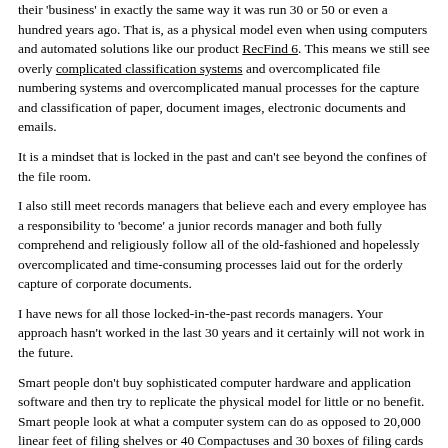their 'business' in exactly the same way it was run 30 or 50 or even a hundred years ago. That is, as a physical model even when using computers and automated solutions like our product RecFind 6. This means we still see overly complicated classification systems and overcomplicated file numbering systems and overcomplicated manual processes for the capture and classification of paper, document images, electronic documents and emails.
It is a mindset that is locked in the past and can't see beyond the confines of the file room.
I also still meet records managers that believe each and every employee has a responsibility to 'become' a junior records manager and both fully comprehend and religiously follow all of the old-fashioned and hopelessly overcomplicated and time-consuming processes laid out for the orderly capture of corporate documents.
I have news for all those locked-in-the-past records managers. Your approach hasn't worked in the last 30 years and it certainly will not work in the future.
Smart people don't buy sophisticated computer hardware and application software and then try to replicate the physical model for little or no benefit. Smart people look at what a computer system can do as opposed to 20,000 linear feet of filing shelves or 40 Compactuses and 30 boxes of filing cards and immediately realize that they have the power to do everything differently, faster, most efficiently and infinitely smarter. They also realize that there is no need to overburden already busy end